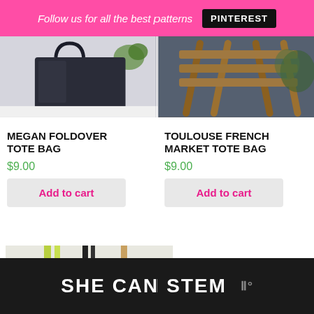Follow us for all the best patterns PINTEREST
[Figure (photo): Dark navy tote bag on white surface with green plant visible]
[Figure (photo): Wooden folding chair/table with plant in background]
MEGAN FOLDOVER TOTE BAG
TOULOUSE FRENCH MARKET TOTE BAG
$9.00
$9.00
Add to cart
Add to cart
[Figure (photo): Multiple tote bags in lime green, navy blue, and tan/brown colors hanging]
SHE CAN STEM